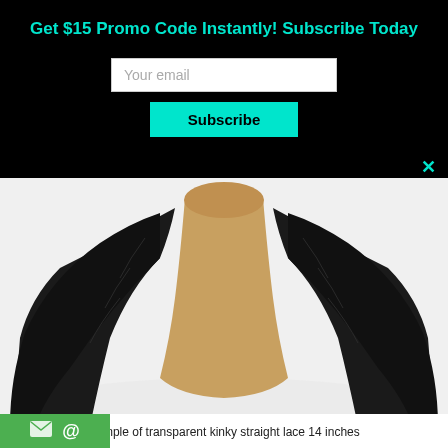Get $15 Promo Code Instantly! Subscribe Today
[Figure (screenshot): Email subscription modal with input field and Subscribe button on black background, with close X button]
[Figure (photo): A mannequin head displaying a kinky straight lace wig, viewed from the back, with dark hair falling on either side of a tan mannequin neck, on a white surface]
Sample of transparent kinky straight lace 14 inches